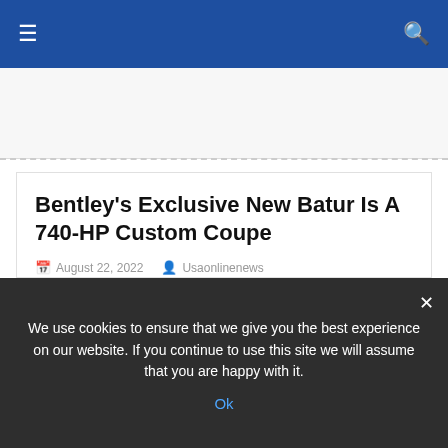≡  🔍
Bentley's Exclusive New Batur Is A 740-HP Custom Coupe
August 22, 2022   Usaonlinenews
Leave A Comment
(Bentley) Bentley's Mulliner shop, known for creating some of the English brand's most luxurious top-end vehicles, has just pulled the curtai… Read More
We use cookies to ensure that we give you the best experience on our website. If you continue to use this site we will assume that you are happy with it.
Ok